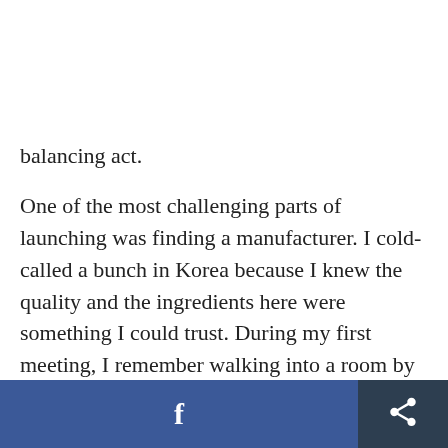balancing act.

One of the most challenging parts of launching was finding a manufacturer. I cold-called a bunch in Korea because I knew the quality and the ingredients here were something I could trust. During my first meeting, I remember walking into a room by myself and there were two older men sitting at a desk. They began questioning if I was the person they were supposed to be having a meeting with, and when I was talking, I could tell
[Figure (screenshot): Bottom toolbar with Facebook share button (blue) and a general share button (dark navy)]